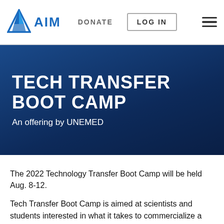[Figure (logo): AIM logo with blue triangle/mountain icon and 'AIM' text in blue]
DONATE   LOG IN
TECH TRANSFER BOOT CAMP
An offering by UNEMED
The 2022 Technology Transfer Boot Camp will be held Aug. 8-12.
Tech Transfer Boot Camp is aimed at scientists and students interested in what it takes to commercialize a new invention or discovery. The week-long event can also